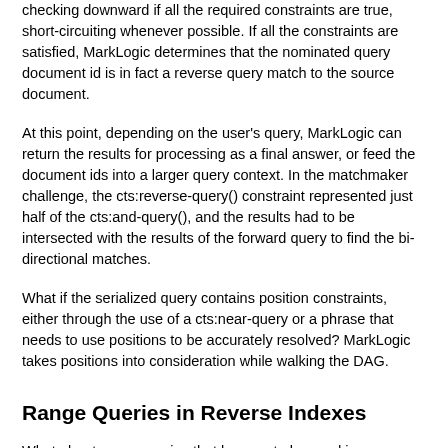checking downward if all the required constraints are true, short-circuiting whenever possible. If all the constraints are satisfied, MarkLogic determines that the nominated query document id is in fact a reverse query match to the source document.
At this point, depending on the user's query, MarkLogic can return the results for processing as a final answer, or feed the document ids into a larger query context. In the matchmaker challenge, the cts:reverse-query() constraint represented just half of the cts:and-query(), and the results had to be intersected with the results of the forward query to find the bi-directional matches.
What if the serialized query contains position constraints, either through the use of a cts:near-query or a phrase that needs to use positions to be accurately resolved? MarkLogic takes positions into consideration while walking the DAG.
Range Queries in Reverse Indexes
What about range queries that happen to be used in reverse queries? They require special handling because with a range query there's no simple leaf node term. There's nothing to be found "present" or "absent" during the first phase of processing. What MarkLogic does is define subranges for lookup, based on the cutpoints used in the serialized range queries. Imagine you have the serialized range queries, each with different range expressions in them.